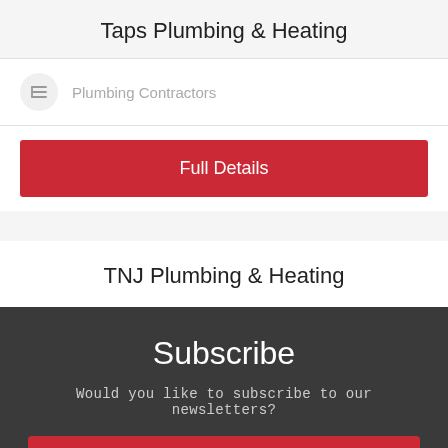Taps Plumbing & Heating
Plumbing Contractors
Full Details
TNJ Plumbing & Heating
Subscribe
Would you like to subscribe to our newsletters?
Yes
No